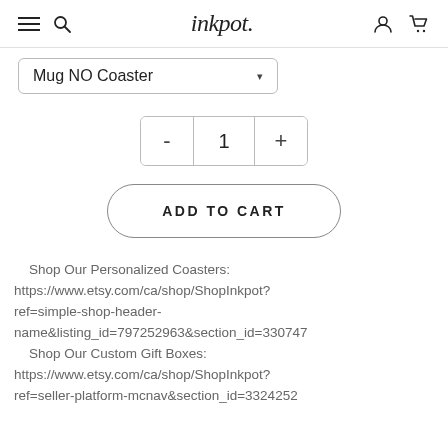inkpot.
Mug NO Coaster
- 1 +
ADD TO CART
Shop Our Personalized Coasters: https://www.etsy.com/ca/shop/ShopInkpot?ref=simple-shop-header-name&listing_id=797252963&section_id=33074    Shop Our Custom Gift Boxes: https://www.etsy.com/ca/shop/ShopInkpot?ref=seller-platform-mcnav&section_id=3324252